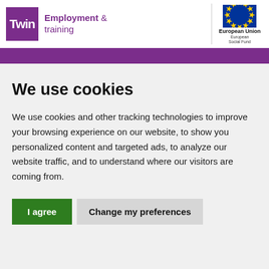[Figure (logo): Twin Employment & training logo with purple square containing white Twin text, alongside purple text reading Employment & training]
[Figure (logo): European Union European Social Fund logo with EU flag (blue circle of yellow stars) and text European Union / European Social Fund]
We use cookies
We use cookies and other tracking technologies to improve your browsing experience on our website, to show you personalized content and targeted ads, to analyze our website traffic, and to understand where our visitors are coming from.
I agree | Change my preferences